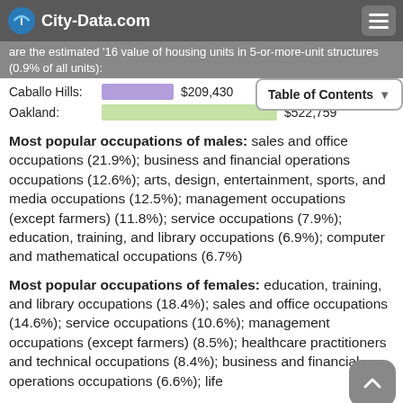City-Data.com
are the estimated '16 value of housing units in 5-or-more-unit structures (0.9% of all units):
Caballo Hills: $209,430
Oakland: $522,759
Most popular occupations of males: sales and office occupations (21.9%); business and financial operations occupations (12.6%); arts, design, entertainment, sports, and media occupations (12.5%); management occupations (except farmers) (11.8%); service occupations (7.9%); education, training, and library occupations (6.9%); computer and mathematical occupations (6.7%)
Most popular occupations of females: education, training, and library occupations (18.4%); sales and office occupations (14.6%); service occupations (10.6%); management occupations (except farmers) (8.5%); healthcare practitioners and technical occupations (8.4%); business and financial operations occupations (6.6%); life...